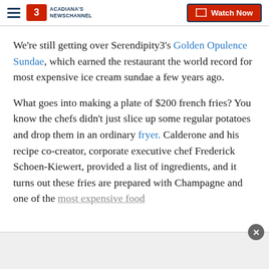Acadiana's Newschannel — Watch Now
We're still getting over Serendipity3's Golden Opulence Sundae, which earned the restaurant the world record for most expensive ice cream sundae a few years ago.
What goes into making a plate of $200 french fries? You know the chefs didn't just slice up some regular potatoes and drop them in an ordinary fryer. Calderone and his recipe co-creator, corporate executive chef Frederick Schoen-Kiewert, provided a list of ingredients, and it turns out these fries are prepared with Champagne and one of the most expensive food